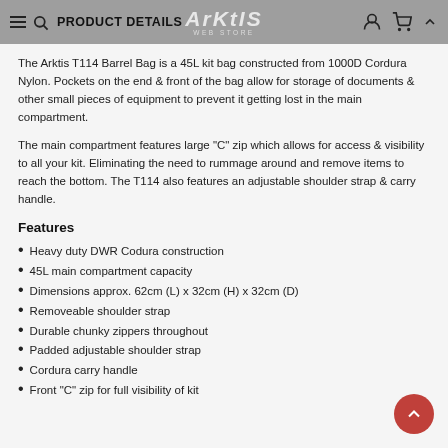PRODUCT DETAILS | ARKTIS WEB STORE
The Arktis T114 Barrel Bag is a 45L kit bag constructed from 1000D Cordura Nylon. Pockets on the end & front of the bag allow for storage of documents & other small pieces of equipment to prevent it getting lost in the main compartment.
The main compartment features large "C" zip which allows for access & visibility to all your kit. Eliminating the need to rummage around and remove items to reach the bottom. The T114 also features an adjustable shoulder strap & carry handle.
Features
Heavy duty DWR Codura construction
45L main compartment capacity
Dimensions approx. 62cm (L) x 32cm (H) x 32cm (D)
Removeable shoulder strap
Durable chunky zippers throughout
Padded adjustable shoulder strap
Cordura carry handle
Front "C" zip for full visibility of kit